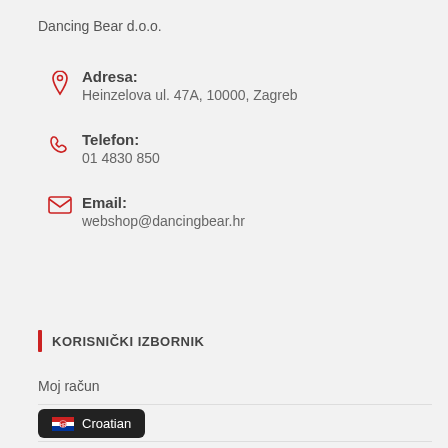Dancing Bear d.o.o.
Adresa:
Heinzelova ul. 47A, 10000, Zagreb
Telefon:
01 4830 850
Email:
webshop@dancingbear.hr
KORISNIČKI IZBORNIK
Moj račun
Načini plaćanja
Pravila privatnosti
Uvjeti korištenja
Croatian